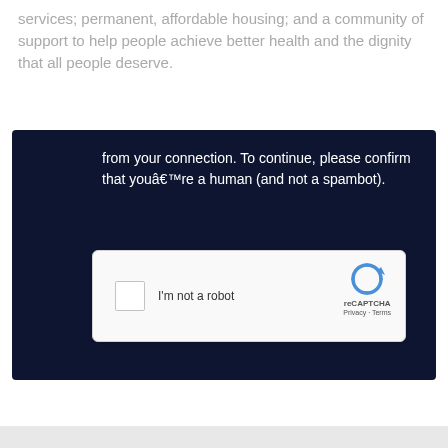services; permanent, affordable housing; and a community of support to help people achieve better health and the dignity that all people deserve.
[Figure (screenshot): Dark navy blue overlay/modal with white text reading 'from your connection. To continue, please confirm that youâ€™re a human (and not a spambot).' and a reCAPTCHA widget with checkbox labeled 'I'm not a robot' and reCAPTCHA logo with Privacy and Terms links.]